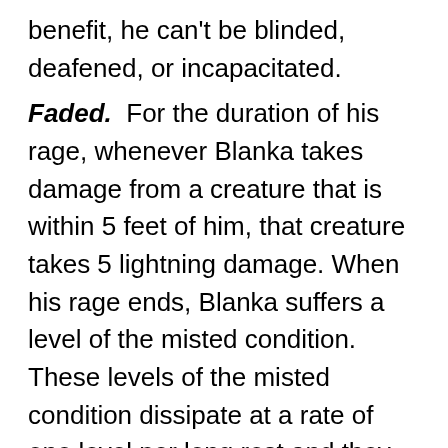benefit, he can't be blinded, deafened, or incapacitated.
Faded. For the duration of his rage, whenever Blanka takes damage from a creature that is within 5 feet of him, that creature takes 5 lightning damage. When his rage ends, Blanka suffers a level of the misted condition. These levels of the misted condition dissipate at a rate of one level per long rest and they cannot trigger his death and transformation into adeddo-oni; instead, any misted levels beyond the 7th count as levels of exhaustion that are removed when Blanka takes a long rest.
Feral Instinct. Blanka's instincts are so honed